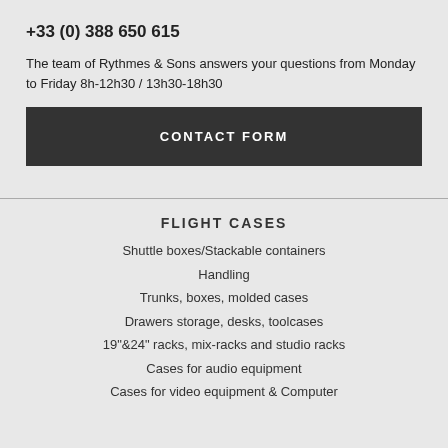+33 (0) 388 650 615
The team of Rythmes & Sons answers your questions from Monday to Friday 8h-12h30 / 13h30-18h30
CONTACT FORM
FLIGHT CASES
Shuttle boxes/Stackable containers
Handling
Trunks, boxes, molded cases
Drawers storage, desks, toolcases
19"&24" racks, mix-racks and studio racks
Cases for audio equipment
Cases for video equipment & Computer